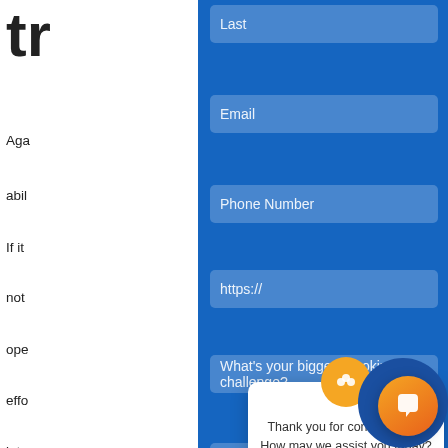[Figure (screenshot): Screenshot of a website page showing a blue contact form overlay with fields for Last name, Email, Phone Number, website URL (https://), a dropdown for biggest booking challenge, and scheduling software. The left side shows white background with partial text fragments: 'tr', 'Aga', 'abil', 'If it', 'not', 'ope', 'effo', 'inte'. At the bottom is a large bold heading 'for added growth in the future?' A chat popup widget is visible with an orange icon and message 'Thank you for contacting us! How may we assist you today?' with a close X button. An orange circular chat launcher button is in the bottom right.]